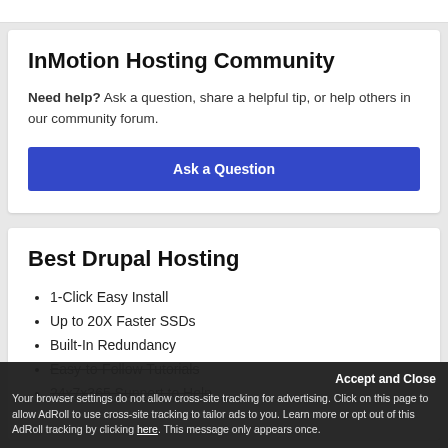InMotion Hosting Community
Need help? Ask a question, share a helpful tip, or help others in our community forum.
[Figure (other): Blue 'Ask a Question' button]
Best Drupal Hosting
1-Click Easy Install
Up to 20X Faster SSDs
Built-In Redundancy
Easy-to-Follow Tutorials
24x7x365 Support to Help
Accept and Close
Your browser settings do not allow cross-site tracking for advertising. Click on this page to allow AdRoll to use cross-site tracking to tailor ads to you. Learn more or opt out of this AdRoll tracking by clicking here. This message only appears once.